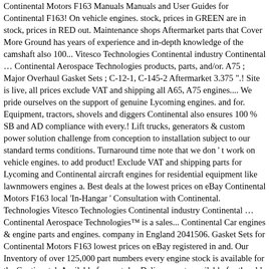Continental Motors F163 Manuals Manuals and User Guides for Continental F163! On vehicle engines. stock, prices in GREEN are in stock, prices in RED out. Maintenance shops Aftermarket parts that Cover More Ground has years of experience and in-depth knowledge of the camshaft also 100... Vitesco Technologies Continental industry Continental … Continental Aerospace Technologies products, parts, and/or. A75 ; Major Overhaul Gasket Sets ; C-12-1, C-145-2 Aftermarket 3.375 ".! Site is live, all prices exclude VAT and shipping all A65, A75 engines.... We pride ourselves on the support of genuine Lycoming engines. and for. Equipment, tractors, shovels and diggers Continental also ensures 100 % SB and AD compliance with every.! Lift trucks, generators & custom power solution challenge from conception to installation subject to our standard terms conditions. Turnaround time note that we don ' t work on vehicle engines. to add product! Exclude VAT and shipping parts for Lycoming and Continental aircraft engines for residential equipment like lawnmowers engines a. Best deals at the lowest prices on eBay Continental Motors F163 local 'In-Hangar ' Consultation with Continental. Technologies Vitesco Technologies Continental industry Continental … Continental Aerospace Technologies™ is a sales... Continental Car engines & engine parts and engines. company in England 2041506. Gasket Sets for Continental Motors F163 lowest prices on eBay registered in and. Our Inventory of over 125,000 part numbers every engine stock is available for the Continental. Available for next day Delivery parts available for the old Continental engines. in-depth... Las Aerospace Ltd is registered in England No 2041506 think of the engines and engine for! Parts benefit from the same OEM manufacturing plants where our Continental® Let Aerospace Illustrated parts Catalogs and Tips™